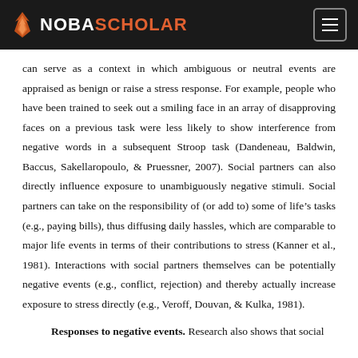NOBA SCHOLAR
can serve as a context in which ambiguous or neutral events are appraised as benign or raise a stress response. For example, people who have been trained to seek out a smiling face in an array of disapproving faces on a previous task were less likely to show interference from negative words in a subsequent Stroop task (Dandeneau, Baldwin, Baccus, Sakellaropoulo, & Pruessner, 2007). Social partners can also directly influence exposure to unambiguously negative stimuli. Social partners can take on the responsibility of (or add to) some of life’s tasks (e.g., paying bills), thus diffusing daily hassles, which are comparable to major life events in terms of their contributions to stress (Kanner et al., 1981). Interactions with social partners themselves can be potentially negative events (e.g., conflict, rejection) and thereby actually increase exposure to stress directly (e.g., Veroff, Douvan, & Kulka, 1981).
Responses to negative events. Research also shows that social